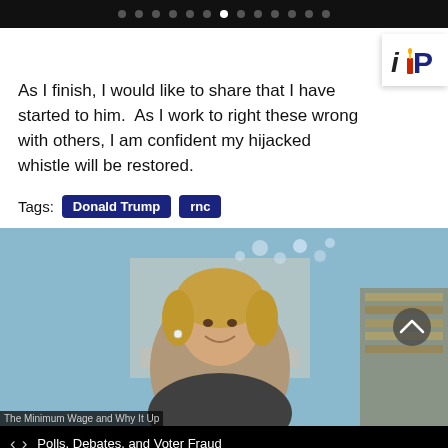Navigation dots carousel header
As I finish, I would like to share that I have started to him. As I work to right these wrong with others, I am confident my hijacked whistle will be restored.
Tags: Donald Trump  rnc
[Figure (photo): Photo of a smiling blonde woman (Hillary Clinton) in an interior setting with blue walls and a chandelier]
< >  Polls, Debates, and Voter Fraud